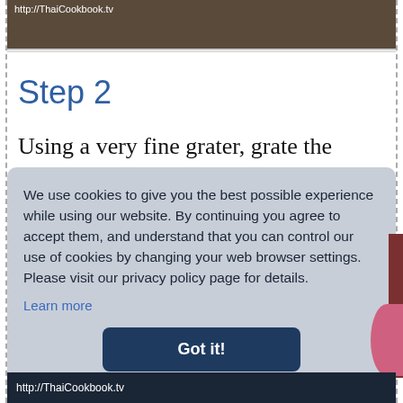[Figure (screenshot): Top portion of a website screenshot showing http://ThaiCookbook.tv URL on a dark brown/kitchen background image]
Step 2
Using a very fine grater, grate the
We use cookies to give you the best possible experience while using our website. By continuing you agree to accept them, and understand that you can control our use of cookies by changing your web browser settings. Please visit our privacy policy page for details.
Learn more
Got it!
http://ThaiCookbook.tv